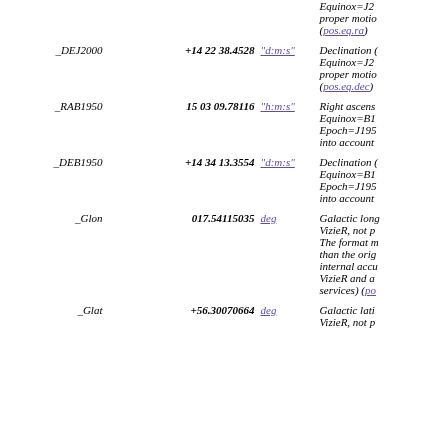| Name | Value | Unit | Description |
| --- | --- | --- | --- |
|  |  |  | Equinox=J2... proper motio... (pos.eq.ra) |
| _DEJ2000 | +14 22 38.4528 | "d:m:s" | Declination (... Equinox=J2... proper motio... (pos.eq.dec) |
| _RAB1950 | 15 03 09.78116 | "h:m:s" | Right ascens... Equinox=B1... Epoch=J195... into account |
| _DEB1950 | +14 34 13.3554 | "d:m:s" | Declination (... Equinox=B1... Epoch=J195... into account |
| _Glon | 017.54115035 | deg | Galactic long... VizieR, not p... The format m... than the orig... internal accu... VizieR and a... services) (po... |
| _Glat | +56.30070664 | deg | Galactic lati... VizieR, not p... |